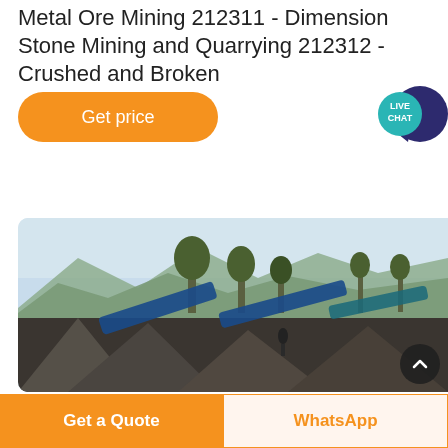Metal Ore Mining 212311 - Dimension Stone Mining and Quarrying 212312 - Crushed and Broken
[Figure (illustration): Orange rounded rectangle button labeled 'Get price' and a teal/dark blue speech bubble with 'LIVE CHAT' text]
[Figure (photo): Outdoor photo of a stone crushing / quarrying facility with machinery, conveyor belts, piles of crushed stone, trees, and mountains in the background under a hazy sky]
Get a Quote   WhatsApp